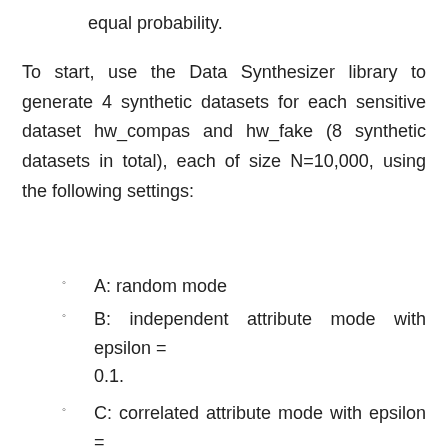equal probability.
To start, use the Data Synthesizer library to generate 4 synthetic datasets for each sensitive dataset hw_compas and hw_fake (8 synthetic datasets in total), each of size N=10,000, using the following settings:
A: random mode
B: independent attribute mode with epsilon = 0.1.
C: correlated attribute mode with epsilon = 0.1, with Bayesian network degree k=1
D: correlated attribute mode with epsilon = 0.1, with Bayesian network degree k=2